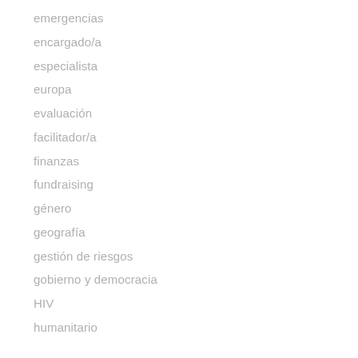emergencias
encargado/a
especialista
europa
evaluación
facilitador/a
finanzas
fundraising
género
geografía
gestión de riesgos
gobierno y democracia
HIV
humanitario